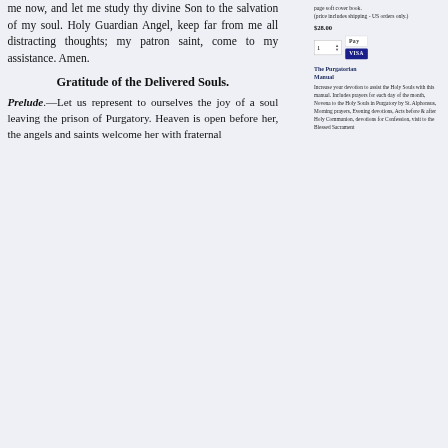me now, and let me study thy divine Son to the salvation of my soul. Holy Guardian Angel, keep far from me all distracting thoughts; my patron saint, come to my assistance. Amen.
page soft cover book. (price includes shipping - US orders only.)
$28.00
Gratitude of the Delivered Souls.
Prelude.—Let us represent to ourselves the joy of a soul leaving the prison of Purgatory. Heaven is open before her, the angels and saints welcome her with fraternal
The Purgatorian Manual
Increase your devotion to assist the Holy Souls with this manual. Includes prayers for each day of the month, Novena to the Holy Souls in Purgatory by St. Alphonsus, Morning prayers, Evening devotions, Acts before & after Holy Communion, devotions for Confession, visit to the Blessed Sacrament